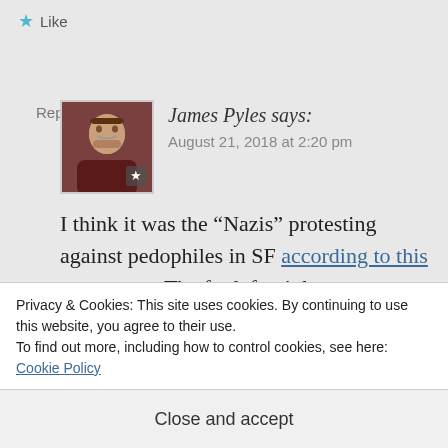★ Like
Reply
James Pyles says:
August 21, 2018 at 2:20 pm
I think it was the “Nazis” protesting against pedophiles in SF according to this news story. The far left, violent group Antifa came to counter-protest.
Privacy & Cookies: This site uses cookies. By continuing to use this website, you agree to their use.
To find out more, including how to control cookies, see here: Cookie Policy
Close and accept